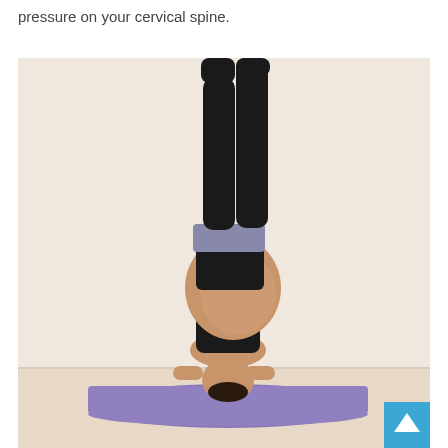pressure on your cervical spine.
[Figure (photo): A pregnant woman performing a yoga headstand pose on a purple mat against a light beige wall, wearing black pants and a lavender sports top, with her belly visible and hands clasped behind her head on the mat.]